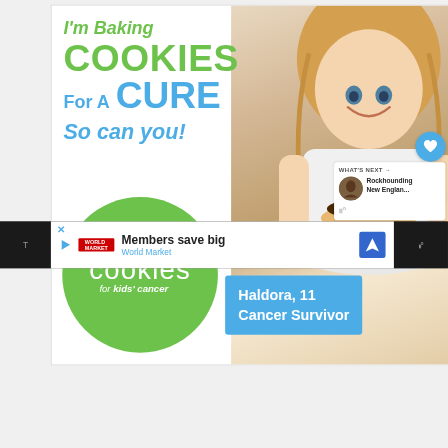[Figure (photo): Advertisement for Cookies for Kids' Cancer charity. Shows a smiling young blonde girl holding a plate of cookies. Text reads: 'I'm Baking COOKIES For A CURE So can you!' with the green 'cookies for kids' cancer' logo circle, and a teal box reading 'Haldora, 11 Cancer Survivor'.]
9
WHAT'S NEXT → Rockhounding New Englan...
Members save big
World Market